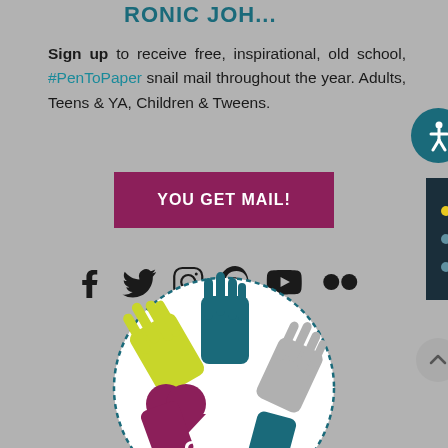[Figure (logo): Partial logo at the top of the page showing text 'RONIC JOH...' in teal]
Sign up to receive free, inspirational, old school, #PenToPaper snail mail throughout the year. Adults, Teens & YA, Children & Tweens.
[Figure (other): Button with text 'YOU GET MAIL!' in maroon/purple background with white text]
[Figure (infographic): Social media icons: Facebook, Twitter, Instagram, Pinterest, YouTube, Flickr]
[Figure (illustration): Circle illustration with colorful hands (yellow, teal, gray, purple/maroon) reaching toward center with text 'GET' visible at bottom]